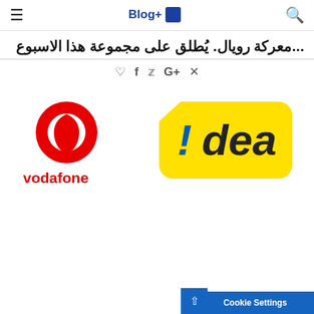Blog+
...معركة رويال. يُطلق على مجموعة هذا الاسبوع
[Figure (logo): Vodafone and Idea telecom company logos side by side]
Cookie Settings